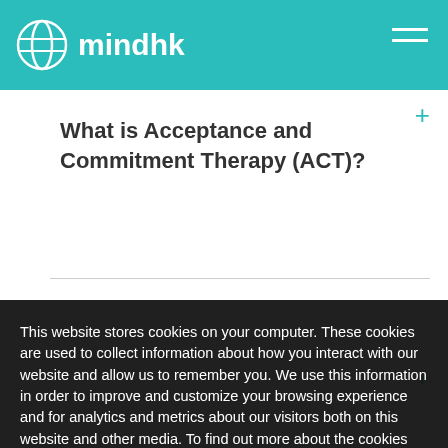mindhk
What is Acceptance and Commitment Therapy (ACT)?
This website stores cookies on your computer. These cookies are used to collect information about how you interact with our website and allow us to remember you. We use this information in order to improve and customize your browsing experience and for analytics and metrics about our visitors both on this website and other media. To find out more about the cookies we use, see our Privacy Policy.
Accept